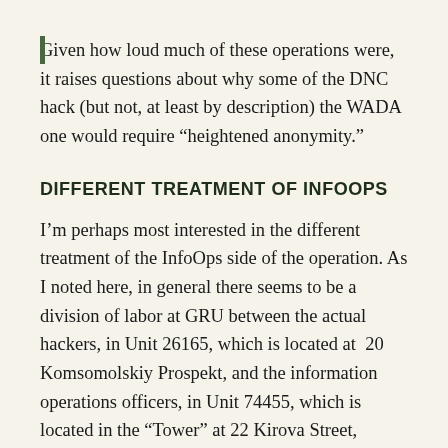Given how loud much of these operations were, it raises questions about why some of the DNC hack (but not, at least by description) the WADA one would require “heightened anonymity.”
DIFFERENT TREATMENT OF INFOOPS
I’m perhaps most interested in the different treatment of the InfoOps side of the operation. As I noted here, in general there seems to be a division of labor at GRU between the actual hackers, in Unit 26165, which is located at 20 Komsomolskiy Prospekt, and the information operations officers, in Unit 74455, which is located in the “Tower” at 22 Kirova Street, Khimki. Both units were involved in